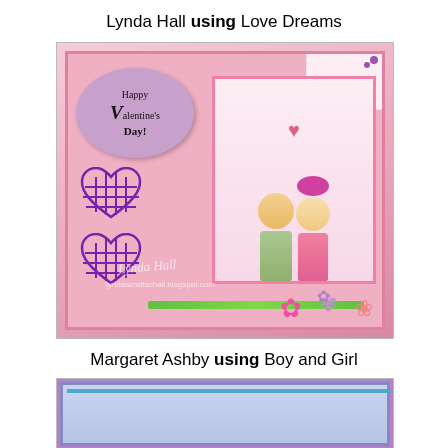Lynda Hall using Love Dreams
[Figure (photo): Handmade Valentine's Day card by Lynda Hall featuring a couple kissing, purple heart cutouts, a purple oval tag reading 'Happy Valentine's Day!', lace decoration, and flower embellishments. Watermark reads 'Lynda Hall lyndascraftschall.blogspot.com'.]
Margaret Ashby using Boy and Girl
[Figure (photo): Partial view of handmade card by Margaret Ashby featuring a boy and girl character with blonde hair, set against a light blue patterned background inside a purple-bordered card.]